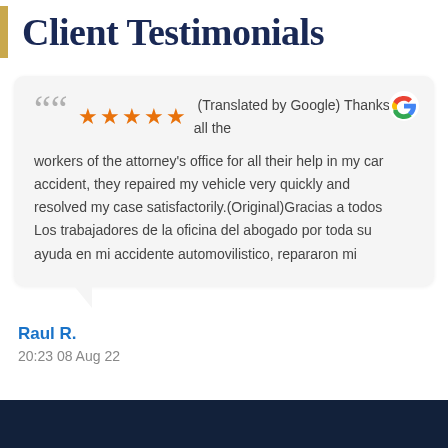Client Testimonials
(Translated by Google) Thanks to all the workers of the attorney's office for all their help in my car accident, they repaired my vehicle very quickly and resolved my case satisfactorily.(Original)Gracias a todos Los trabajadores de la oficina del abogado por toda su ayuda en mi accidente automovilistico, repararon mi
Raul R.
20:23 08 Aug 22